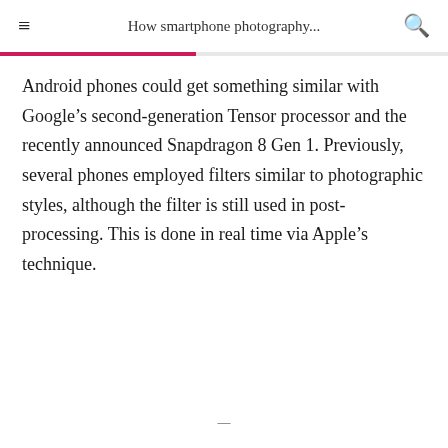How smartphone photography...
Android phones could get something similar with Google’s second-generation Tensor processor and the recently announced Snapdragon 8 Gen 1. Previously, several phones employed filters similar to photographic styles, although the filter is still used in post-processing. This is done in real time via Apple’s technique.